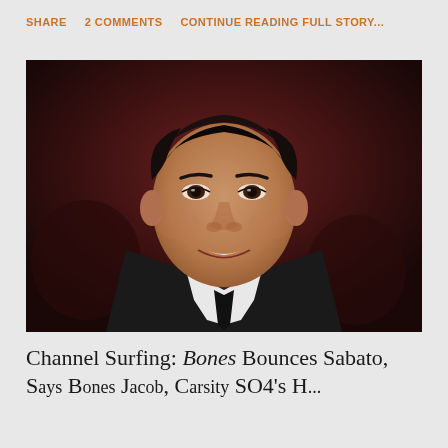SHARE   2 COMMENTS   CONTINUE READING FULL STORY...
[Figure (photo): Headshot of a man with dark hair wearing a dark suit with white shirt, smiling, at what appears to be a red carpet event]
Channel Surfing: Bones Bounces Sabato, Says Bones Jacob, Carsity SO4's H...